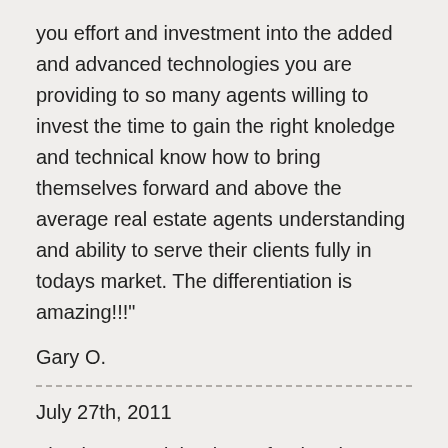you effort and investment into the added and advanced technologies you are providing to so many agents willing to invest the time to gain the right knoledge and technical know how to bring themselves forward and above the average real estate agents understanding and ability to serve their clients fully in todays market. The differentiation is amazing!!!"
Gary O.
July 27th, 2011
Thank you and thank you for the class. I took a class from another person for the I-pad in that very room about a month ago. He charged twice as much, took twice as long and taught us half as much. The forms you are giving us for free he also had available at a price of $20.00 instead of your $freeprice. Don't get me wrong, the